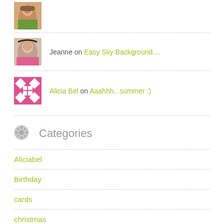[Figure (photo): Partial avatar photo at top of page, woman with light background]
Jeanne on Easy Sky Background....
[Figure (photo): Avatar photo of woman with dark hair]
Alicia Bel on Aaahhh...summer :)
[Figure (illustration): Pink and white geometric quilt pattern avatar for Alicia Bel]
Categories
Aliciabel
Birthday
cards
christmas